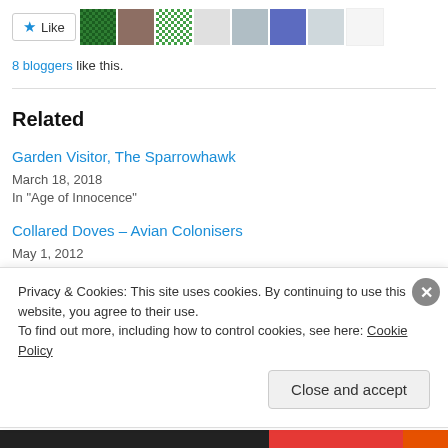[Figure (other): Like button with star icon and row of blogger avatar thumbnails]
8 bloggers like this.
Related
Garden Visitor, The Sparrowhawk
March 18, 2018
In "Age of Innocence"
Collared Doves – Avian Colonisers
May 1, 2012
In "History"
The Seagull Has Landed
Privacy & Cookies: This site uses cookies. By continuing to use this website, you agree to their use.
To find out more, including how to control cookies, see here: Cookie Policy
Close and accept